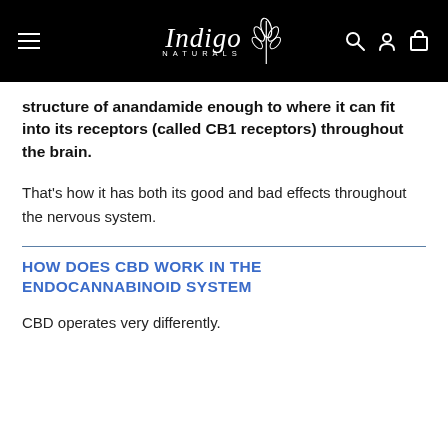Indigo Naturals
structure of anandamide enough to where it can fit into its receptors (called CB1 receptors) throughout the brain.
That's how it has both its good and bad effects throughout the nervous system.
HOW DOES CBD WORK IN THE ENDOCANNABINOID SYSTEM
CBD operates very differently.